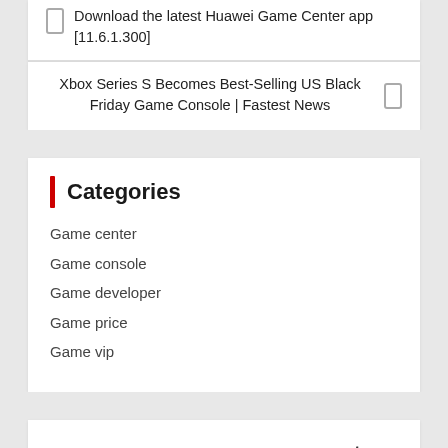Download the latest Huawei Game Center app [11.6.1.300]
Xbox Series S Becomes Best-Selling US Black Friday Game Console | Fastest News
Categories
Game center
Game console
Game developer
Game price
Game vip
app store  console market  game center